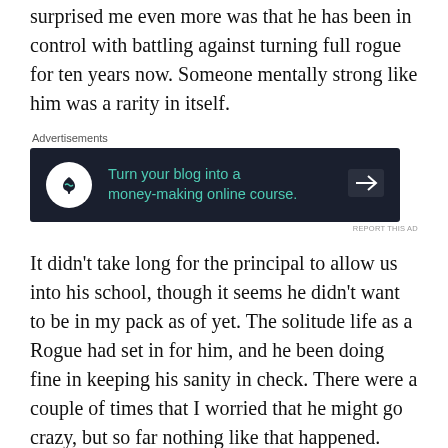surprised me even more was that he has been in control with battling against turning full rogue for ten years now. Someone mentally strong like him was a rarity in itself.
[Figure (screenshot): Advertisement banner with dark background showing 'Turn your blog into a money-making online course.' with a tree/person icon and arrow]
It didn't take long for the principal to allow us into his school, though it seems he didn't want to be in my pack as of yet. The solitude life as a Rogue had set in for him, and he been doing fine in keeping his sanity in check. There were a couple of times that I worried that he might go crazy, but so far nothing like that happened.